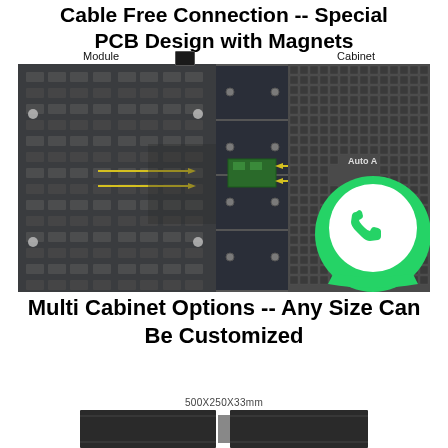Cable Free Connection -- Special PCB Design with Magnets
[Figure (photo): PCB module and cabinet assembly showing cable-free magnetic connection. Left side shows PCB module back with circuit components. Right side shows cabinet with LED display. Yellow arrows indicate auto-alignment connectors. WhatsApp logo overlaid on bottom-right corner. Labels: 'Module' (left) and 'Cabinet' (right).]
Multi Cabinet Options -- Any Size Can Be Customized
500X250X33mm
[Figure (photo): Bottom view of cabinet modules showing slim profile, 500x250x33mm dimensions.]